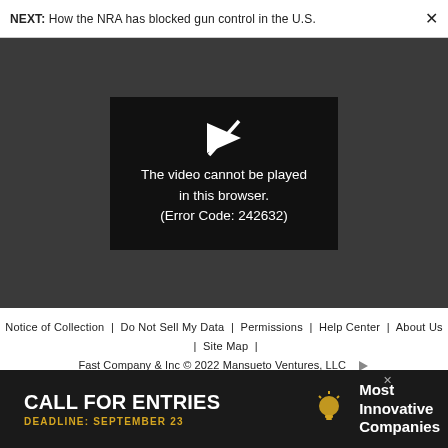NEXT: How the NRA has blocked gun control in the U.S.
[Figure (screenshot): Video player showing error message: 'The video cannot be played in this browser. (Error Code: 242632)']
Notice of Collection | Do Not Sell My Data | Permissions | Help Center | About Us | Site Map | Fast Company & Inc © 2022 Mansueto Ventures, LLC
[Figure (photo): Advertisement banner: CALL FOR ENTRIES DEADLINE: SEPTEMBER 23 Most Innovative Companies]